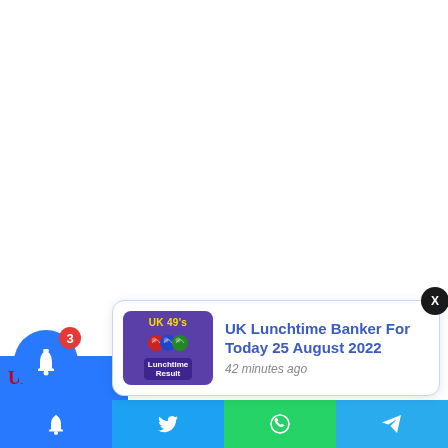[Figure (screenshot): Website screenshot showing a notification popup card with 'UK Lunchtime Banker For Today 25 August 2022' article link, a bell icon with badge count 3, and a bottom navigation bar with social share icons (Twitter, WhatsApp, Telegram). The popup has a purple thumbnail image labeled 'UK 49's Lunchtime Result' and the headline in blue text with '42 minutes ago' timestamp.]